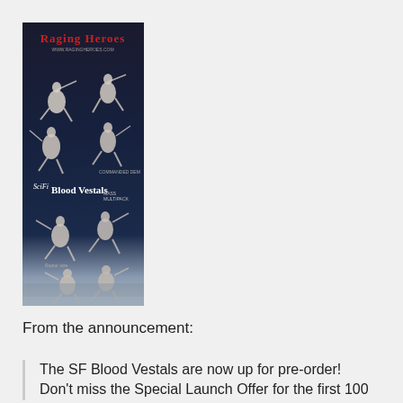[Figure (photo): Product photo showing multiple white/cream colored female fantasy miniature figurines (SF Blood Vestals) in dynamic poses against a dark blue-grey background. The image has a red decorative logo at the top reading 'Raging Heroes' with a website URL below it. Text in the middle reads 'SciFi Blood Vestals' with additional small text. The figurines are shown in two groups — upper group of about 6 figurines in combat poses and lower group of about 4 figurines.]
From the announcement:
The SF Blood Vestals are now up for pre-order! Don't miss the Special Launch Offer for the first 100